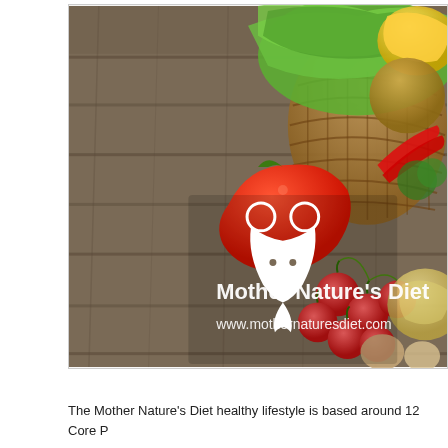[Figure (photo): Photo of a basket of fresh vegetables including lettuce, red bell peppers, cherry tomatoes, onions, chili peppers, broccoli, yellow pepper, garlic, and mushrooms on a wooden surface. Overlaid with the Mother Nature's Diet logo (white hourglass figure with leaf) and text: 'Mother Nature's Diet' and 'www.mothernaturesdiet.com']
The Mother Nature's Diet healthy lifestyle is based around 12 Core P